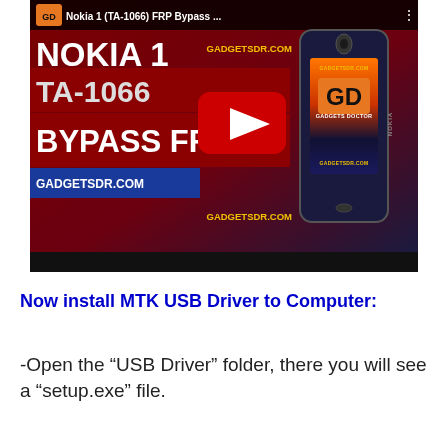[Figure (screenshot): YouTube video thumbnail for Nokia 1 (TA-1066) FRP Bypass tutorial by Gadgets Doctor. Shows Nokia 1 phone with text NOKIA 1, TA-1066 (ANDROID), BYPASS FRP, GADGETSDR.COM on a dark red background, with YouTube play button overlay.]
Now install MTK USB Driver to Computer:
-Open the “USB Driver” folder, there you will see a “setup.exe” file.